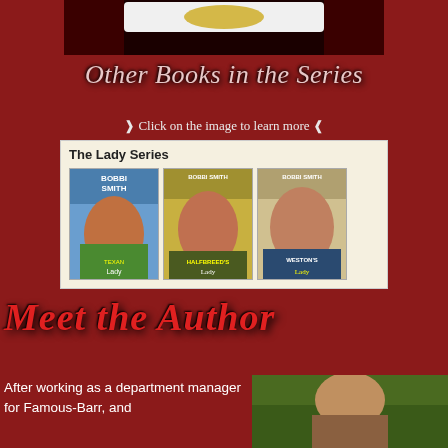[Figure (photo): Top banner image with book cover and logo on dark red background]
Other Books in the Series
❱ Click on the image to learn more ❰
[Figure (illustration): The Lady Series: three romance novel book covers by Bobbi Smith - Lady Texan, Halfbreed's Lady, and Weston's Lady]
Meet the Author
After working as a department manager for Famous-Barr, and
[Figure (photo): Author photo in natural outdoor setting]